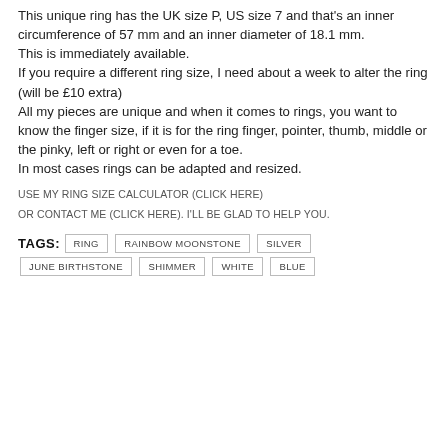This unique ring has the UK size P, US size 7 and that's an inner circumference of 57 mm and an inner diameter of 18.1 mm. This is immediately available. If you require a different ring size, I need about a week to alter the ring (will be £10 extra) All my pieces are unique and when it comes to rings, you want to know the finger size, if it is for the ring finger, pointer, thumb, middle or the pinky, left or right or even for a toe. In most cases rings can be adapted and resized.
USE MY RING SIZE CALCULATOR (CLICK HERE)
OR CONTACT ME (CLICK HERE). I'LL BE GLAD TO HELP YOU.
TAGS:  RING  RAINBOW MOONSTONE  SILVER  JUNE BIRTHSTONE  SHIMMER  WHITE  BLUE